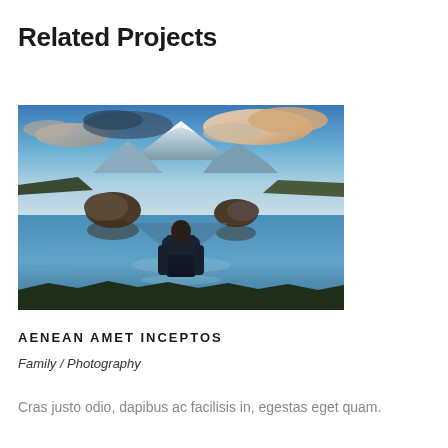Related Projects
[Figure (photo): A person in a dark jacket standing at the edge of a reflective alpine lake, with large rocks, snow-capped mountains, and dramatic clouds in a twilight sky reflected on the water surface.]
AENEAN AMET INCEPTOS
Family / Photography
Cras justo odio, dapibus ac facilisis in, egestas eget quam.